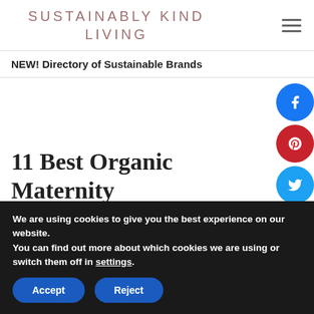SUSTAINABLY KIND LIVING
NEW! Directory of Sustainable Brands
11 Best Organic Maternity
We are using cookies to give you the best experience on our website.
You can find out more about which cookies we are using or switch them off in settings.
Accept  Reject